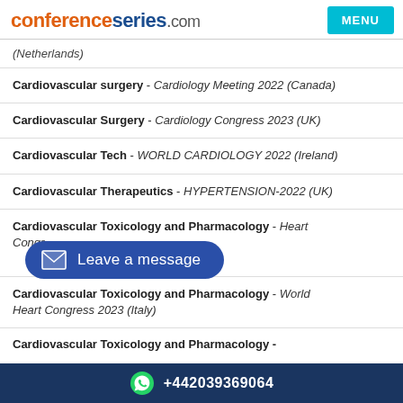conferenceseries.com | MENU
(Netherlands)
Cardiovascular surgery - Cardiology Meeting 2022 (Canada)
Cardiovascular Surgery - Cardiology Congress 2023 (UK)
Cardiovascular Tech - WORLD CARDIOLOGY 2022 (Ireland)
Cardiovascular Therapeutics - HYPERTENSION-2022 (UK)
Cardiovascular Toxicology and Pharmacology - Heart Congress [partially obscured by overlay]
Cardiovascular Toxicology and Pharmacology - World Heart Congress 2023 (Italy)
Cardiovascular Toxicology and Pharmacology - [partially visible]
+442039369064